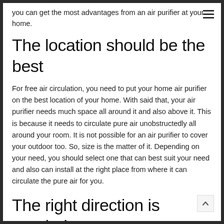you can get the most advantages from an air purifier at your home.
The location should be the best
For free air circulation, you need to put your home air purifier on the best location of your home. With said that, your air purifier needs much space all around it and also above it. This is because it needs to circulate pure air unobstructedly all around your room. It is not possible for an air purifier to cover your outdoor too. So, size is the matter of it. Depending on your need, you should select one that can best suit your need and also can install at the right place from where it can circulate the pure air for you.
The right direction is needed